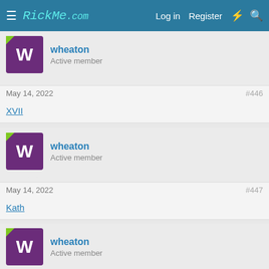RickMe.com — Log in | Register
wheaton
Active member
May 14, 2022  #446
XVII
wheaton
Active member
May 14, 2022  #447
Kath
wheaton
Active member
May 14, 2022  #448
Brya